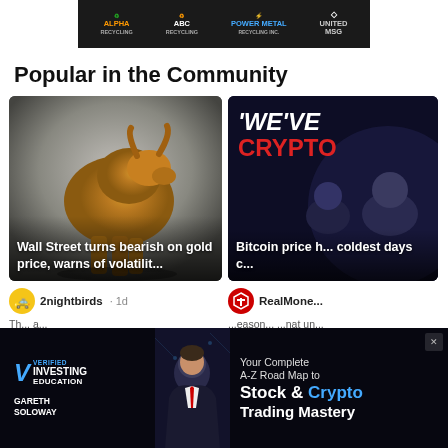[Figure (illustration): Top banner advertisement showing logos: Alpha Recycling, ABC Recycling, Power Metal Recycling Inc, United MSG on dark background]
Popular in the Community
[Figure (photo): Card showing golden bull statue with overlay text: Wall Street turns bearish on gold price, warns of volatilit...]
[Figure (screenshot): Card showing crypto news thumbnail with 'WE'VE' and 'CRYPTO' text in red/white on dark background, overlay: Bitcoin price h... coldest days c...]
2nightbirds · 1d
RealMone...
Th... a...
...eason... ...nat un...
[Figure (infographic): Advertisement banner: Verified Investing Education - Gareth Soloway - Your Complete A-Z Road Map to Stock & Crypto Trading Mastery]